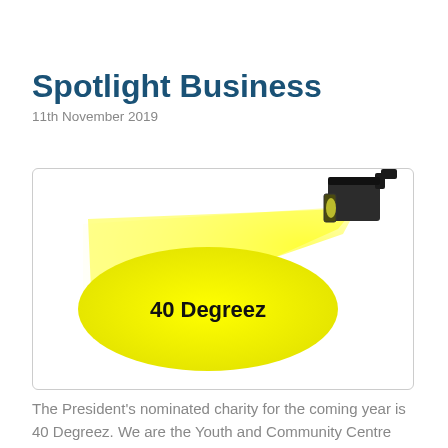Spotlight Business
11th November 2019
[Figure (illustration): Spotlight graphic with yellow beam shining on yellow ellipse containing bold text '40 Degreez'. A stage spotlight fixture is shown at the upper right emitting a cone of yellow light to the left onto an elliptical yellow spotlight pool.]
The President's nominated charity for the coming year is 40 Degreez.  We are the Youth and Community Centre next to the Leisure Centre in Dogflud Way, Farnham. We are a business in that we hire space in the building to many organisations